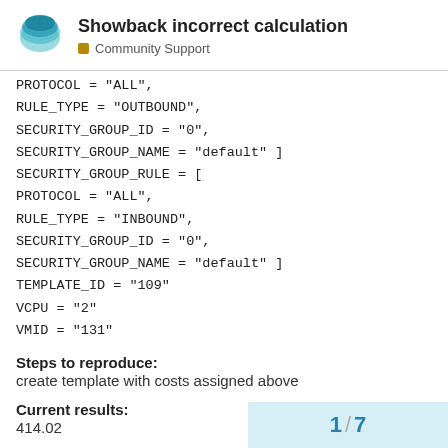Showback incorrect calculation — Community Support
PROTOCOL = "ALL",
RULE_TYPE = "OUTBOUND",
SECURITY_GROUP_ID = "0",
SECURITY_GROUP_NAME = "default" ]
SECURITY_GROUP_RULE = [
PROTOCOL = "ALL",
RULE_TYPE = "INBOUND",
SECURITY_GROUP_ID = "0",
SECURITY_GROUP_NAME = "default" ]
TEMPLATE_ID = "109"
VCPU = "2"
VMID = "131"
Steps to reproduce:
create template with costs assigned above
Current results:
414.02
Expected results:
1 / 7